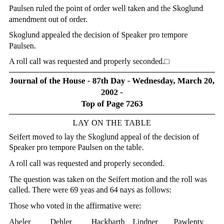Paulsen ruled the point of order well taken and the Skoglund amendment out of order.
Skoglund appealed the decision of Speaker pro tempore Paulsen.
A roll call was requested and properly seconded.□
Journal of the House - 87th Day - Wednesday, March 20, 2002 - Top of Page 7263
LAY ON THE TABLE
Seifert moved to lay the Skoglund appeal of the decision of Speaker pro tempore Paulsen on the table.
A roll call was requested and properly seconded.
The question was taken on the Seifert motion and the roll was called. There were 69 yeas and 64 nays as follows:
Those who voted in the affirmative were:
Abeler   Dehler   Hackbarth   Lindner   Pawlenty
Abrams   Dempsey   Harder   Lipman   Penas
Anderson, B.   Dorman   Holberg   Mares   Rhodes